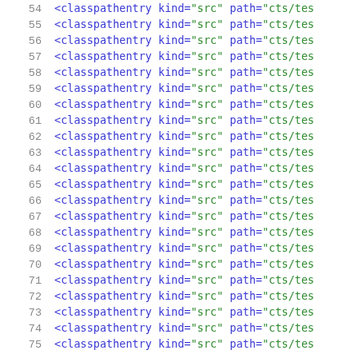54  <classpathentry kind="src" path="cts/tes
55  <classpathentry kind="src" path="cts/tes
56  <classpathentry kind="src" path="cts/tes
57  <classpathentry kind="src" path="cts/tes
58  <classpathentry kind="src" path="cts/tes
59  <classpathentry kind="src" path="cts/tes
60  <classpathentry kind="src" path="cts/tes
61  <classpathentry kind="src" path="cts/tes
62  <classpathentry kind="src" path="cts/tes
63  <classpathentry kind="src" path="cts/tes
64  <classpathentry kind="src" path="cts/tes
65  <classpathentry kind="src" path="cts/tes
66  <classpathentry kind="src" path="cts/tes
67  <classpathentry kind="src" path="cts/tes
68  <classpathentry kind="src" path="cts/tes
69  <classpathentry kind="src" path="cts/tes
70  <classpathentry kind="src" path="cts/tes
71  <classpathentry kind="src" path="cts/tes
72  <classpathentry kind="src" path="cts/tes
73  <classpathentry kind="src" path="cts/tes
74  <classpathentry kind="src" path="cts/tes
75  <classpathentry kind="src" path="cts/tes